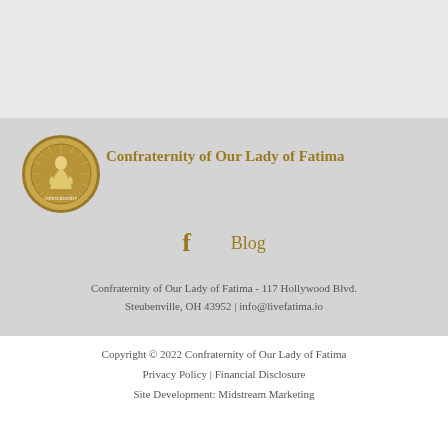[Figure (logo): Circular logo of Confraternity of Our Lady of Fatima with golden border and figure of Mary]
Confraternity of Our Lady of Fatima
f   Blog
Confraternity of Our Lady of Fatima - 117 Hollywood Blvd. Steubenville, OH 43952 | info@livefatima.io
Copyright © 2022 Confraternity of Our Lady of Fatima
Privacy Policy | Financial Disclosure
Site Development: Midstream Marketing